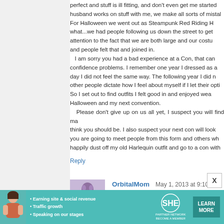perfect and stuff is ill fitting, and don't even get me started... husband works on stuff with me, we make all sorts of mistakes. For Halloween we went out as Steampunk Red Riding H... what...we had people following us down the street to get... attention to the fact that we are both large and our costum... and people felt that and joined in. I am sorry you had a bad experience at a Con, that can... confidence problems. I remember one year I dressed as a... day I did not feel the same way. The following year I did n... other people dictate how I feel about myself if I let their opti... So I set out to find outfits I felt good in and enjoyed wea... Halloween and my next convention. Please don't give up on us all yet, I suspect you will find ma... think you should be. I also suspect your next con will look... you are going to meet people from this form and others wh... happily dust off my old Harlequin outfit and go to a con with...
Reply
OrbitalMom  May 1, 2013 at 9:10 PM
You rock Paige!!! Keep on being yourself!!
Reply
[Figure (infographic): SHE Partner Network advertisement banner with teal background, woman photo, bullet points about Earning site & social revenue, Traffic growth, Speaking on our stages, SHE logo, and Learn More button]